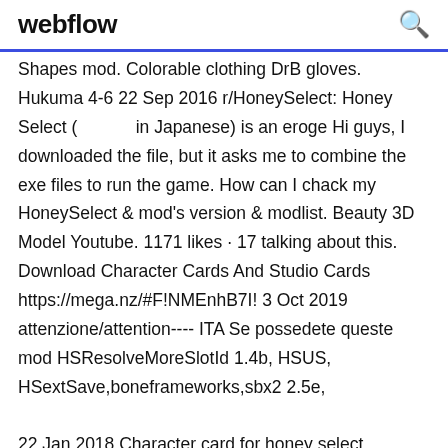webflow
Shapes mod. Colorable clothing DrB gloves. Hukuma 4-6 22 Sep 2016 r/HoneySelect: Honey Select (　　　　　in Japanese) is an eroge Hi guys, I downloaded the file, but it asks me to combine the exe files to run the game. How can I chack my HoneySelect & mod's version & modlist. Beauty 3D Model Youtube. 1171 likes · 17 talking about this. Download Character Cards And Studio Cards https://mega.nz/#F!NMEnhB7I! 3 Oct 2019 attenzione/attention---- ITA Se possedete queste mod HSResolveMoreSlotId 1.4b, HSUS, HSextSave,boneframeworks,sbx2 2.5e,
22 Jan 2018 Character card for honey select